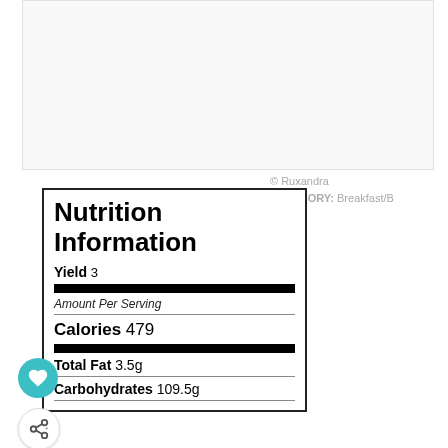[Figure (photo): Blank/white image placeholder area at top of page]
© Ruxandra
CATEGORY: Breakfast/B
Nutrition Information
Yield 3
Amount Per Serving
Calories 479
Total Fat 3.5g
Carbohydrates 109.5g